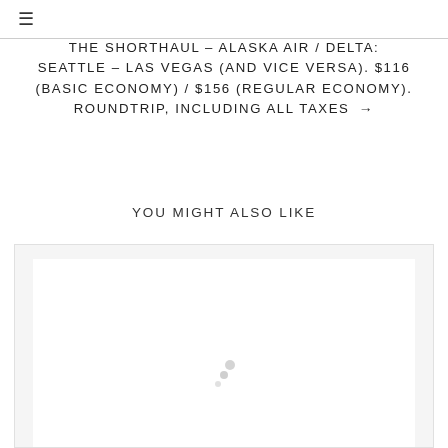≡
THE SHORTHAUL – ALASKA AIR / DELTA: SEATTLE – LAS VEGAS (AND VICE VERSA). $116 (BASIC ECONOMY) / $156 (REGULAR ECONOMY). ROUNDTRIP, INCLUDING ALL TAXES →
YOU MIGHT ALSO LIKE
[Figure (other): Loading spinner / placeholder card area with animated dots indicating content is loading]